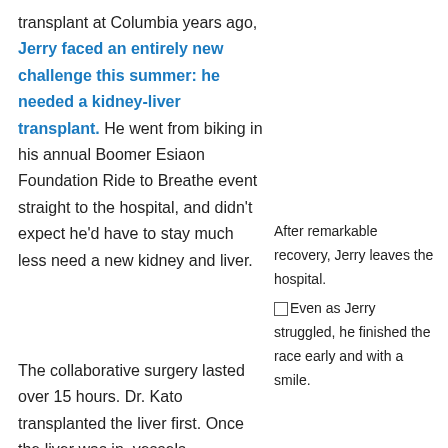transplant at Columbia years ago, Jerry faced an entirely new challenge this summer: he needed a kidney-liver transplant. He went from biking in his annual Boomer Esiaon Foundation Ride to Breathe event straight to the hospital, and didn't expect he'd have to stay much less need a new kidney and liver.
After remarkable recovery, Jerry leaves the hospital.
Even as Jerry struggled, he finished the race early and with a smile.
The collaborative surgery lasted over 15 hours. Dr. Kato transplanted the liver first. Once the liver was in, vessels